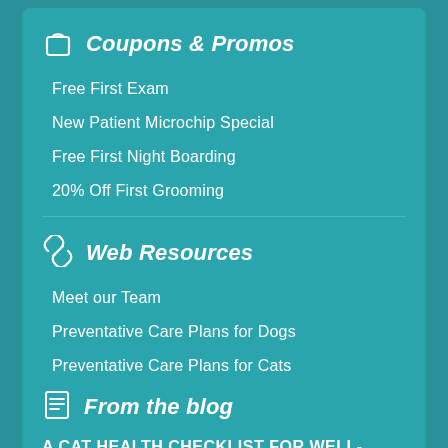Coupons & Promos
Free First Exam
New Patient Microchip Special
Free First Night Boarding
20% Off First Grooming
Web Resources
Meet our Team
Preventative Care Plans for Dogs
Preventative Care Plans for Cats
From the blog
A CAT HEALTH CHECKLIST FOR WELL-ROUNDED CARE